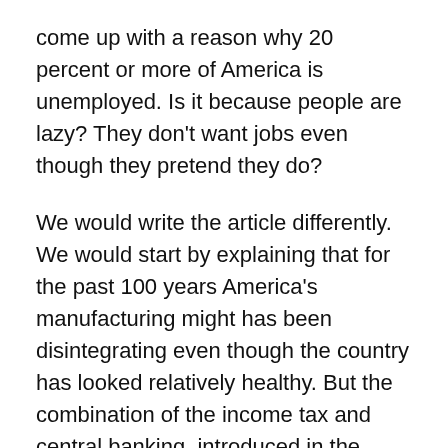come up with a reason why 20 percent or more of America is unemployed. Is it because people are lazy? They don't want jobs even though they pretend they do?
We would write the article differently. We would start by explaining that for the past 100 years America's manufacturing might has been disintegrating even though the country has looked relatively healthy. But the combination of the income tax and central banking, introduced in the 'teens, has robbed the country of its industrial muscle. Many big companies have moved away rather than be subject to the income tax. And employees have given up productive trade and agricultural jobs to chase after the latest Fed-stimulated bubble. The tech sector looked attractive in the 1990s, and the mortgage business was great during the 2000s. But neither business